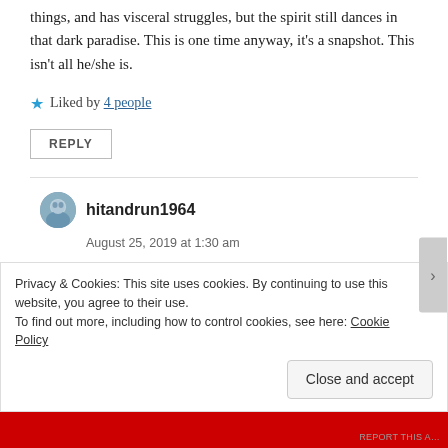things, and has visceral struggles, but the spirit still dances in that dark paradise. This is one time anyway, it's a snapshot. This isn't all he/she is.
★ Liked by 4 people
REPLY
hitandrun1964
August 25, 2019 at 1:30 am
Sorry, I missed that.
Privacy & Cookies: This site uses cookies. By continuing to use this website, you agree to their use. To find out more, including how to control cookies, see here: Cookie Policy
Close and accept